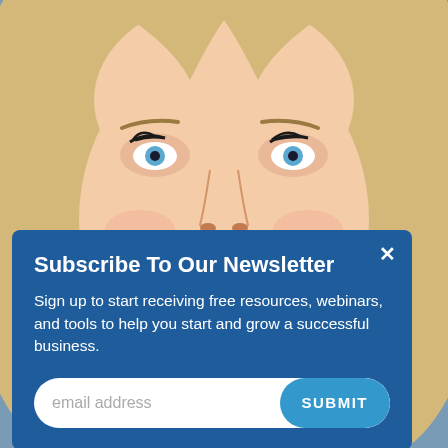[Figure (photo): Close-up photo of a smiling blonde woman with blue eyes and long wavy hair, wearing a dark top, serving as background for a newsletter subscription modal overlay.]
Subscribe To Our Newsletter
Sign up to start receiving free resources, webinars, and tools to help you start and grow a successful business.